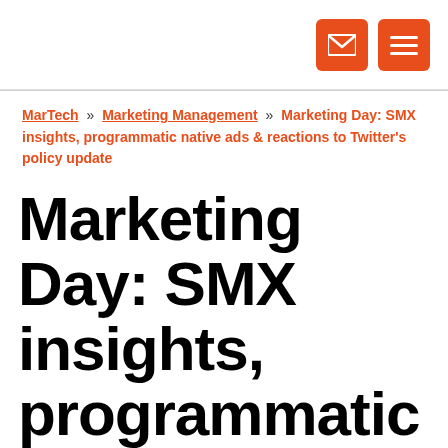[Figure (other): Top navigation bar with orange email icon and orange hamburger menu icon on white background]
MarTech » Marketing Management » Marketing Day: SMX insights, programmatic native ads & reactions to Twitter's policy update
Marketing Day: SMX insights, programmatic native ads & reactions to Twitter's policy update